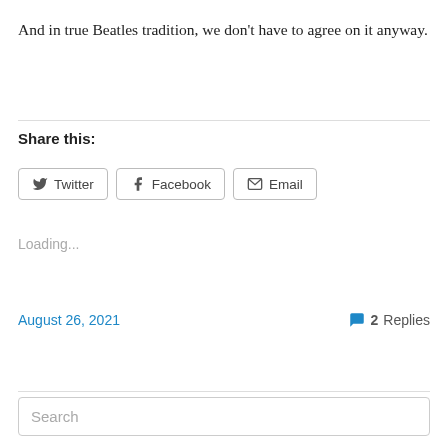And in true Beatles tradition, we don't have to agree on it anyway.
Share this:
[Figure (other): Social share buttons: Twitter, Facebook, Email]
Loading...
August 26, 2021
2 Replies
Search